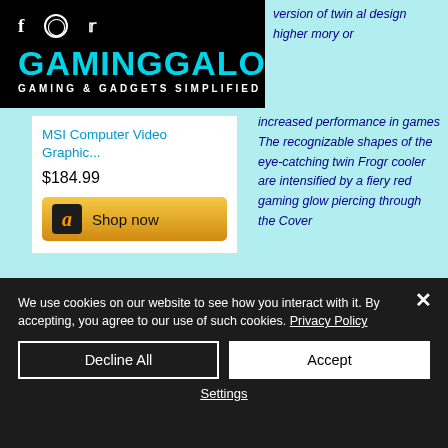GamingGalore - Gaming & Gadgets Simplified
[Figure (screenshot): Product listing showing MSI Computer Video Graphic card priced at $184.99 with Amazon Shop now button on cyan background]
version of twin al design higher mory or increased performance in games The recognizable shapes of the eye-catching twin Frogr cooler are intensified by a fiery red gaming glow piercing through the Cover
We use cookies on our website to see how you interact with it. By accepting, you agree to our use of such cookies. Privacy Policy
Decline All
Accept
Settings